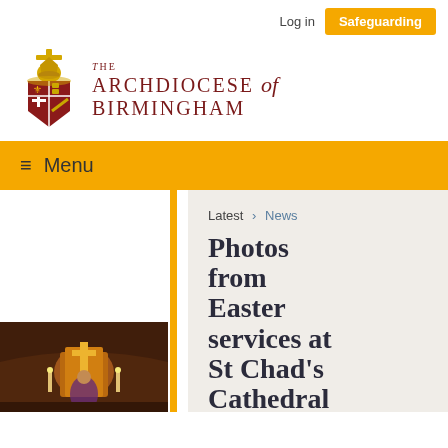Log in  Safeguarding
[Figure (logo): The Archdiocese of Birmingham logo with heraldic crest and text]
Menu
[Figure (photo): Photo of Easter service at St Chad's Cathedral, showing altar area with religious imagery]
Latest > News
Photos from Easter Services at St Chad's Cathedral